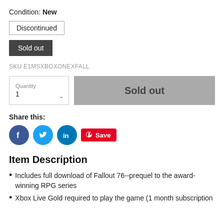Condition: New
Discontinued
Sold out
SKU E1MSXBOXONEXFALL
Quantity 1
Sold out
Share this:
[Figure (infographic): Social sharing icons: Facebook (blue circle with f), Twitter (blue circle with bird), LinkedIn (blue circle with in), Pinterest Save button (red with pin icon)]
Item Description
Includes full download of Fallout 76--prequel to the award-winning RPG series
Xbox Live Gold required to play the game (1 month subscription